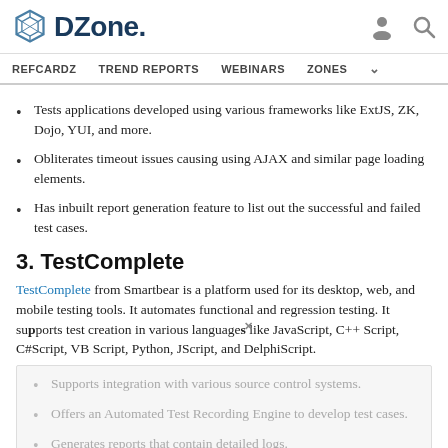DZone. REFCARDZ  TREND REPORTS  WEBINARS  ZONES
Tests applications developed using various frameworks like ExtJS, ZK, Dojo, YUI, and more.
Obliterates timeout issues causing using AJAX and similar page loading elements.
Has inbuilt report generation feature to list out the successful and failed test cases.
3. TestComplete
TestComplete from Smartbear is a platform used for its desktop, web, and mobile testing tools. It automates functional and regression testing. It supports test creation in various languages like JavaScript, C++ Script, C#Script, VB Script, Python, JScript, and DelphiScript.
Supports integration with various source control systems.
Offers an Automated Test Recording Engine to develop test cases.
Generates reports that contain detailed logs.